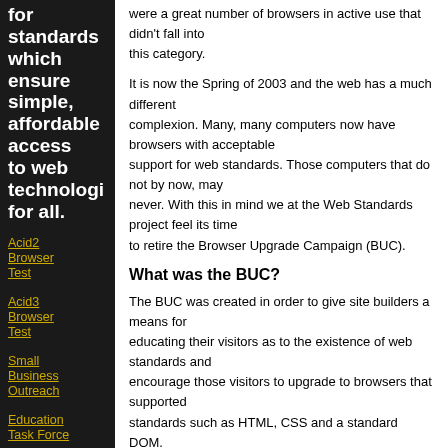for standards which ensure simple, affordable access to web technologies for all.
Acid2 Browser Test
Acid3 Browser Test
Small Business Outreach
Education Task Force
International Liaison
were a great number of browsers in active use that didn't fall into this category.
It is now the Spring of 2003 and the web has a much different complexion. Many, many computers now have browsers with acceptable support for web standards. Those computers that do not by now, may never. With this in mind we at the Web Standards project feel its time to retire the Browser Upgrade Campaign (BUC).
What was the BUC?
The BUC was created in order to give site builders a means for educating their visitors as to the existence of web standards and encourage those visitors to upgrade to browsers that supported standards such as HTML, CSS and a standard DOM.